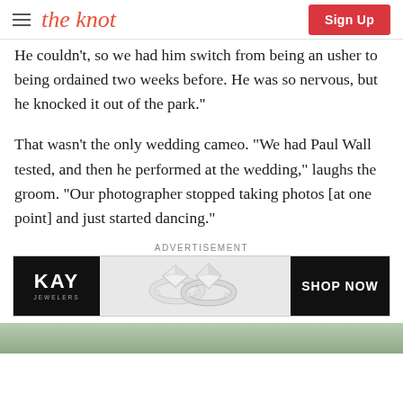the knot | Sign Up
He couldn't, so we had him switch from being an usher to being ordained two weeks before. He was so nervous, but he knocked it out of the park."
That wasn't the only wedding cameo. "We had Paul Wall tested, and then he performed at the wedding," laughs the groom. "Our photographer stopped taking photos [at one point] and just started dancing."
ADVERTISEMENT
[Figure (advertisement): Kay Jewelers ad showing diamond rings with 'SHOP NOW' button]